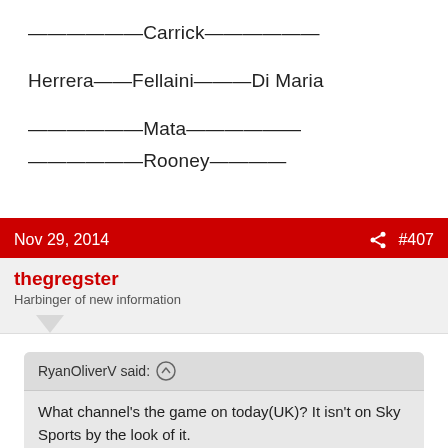——————Carrick——————
Herrera——Fellaini———Di Maria
——————Mata——————
——————Rooney————
Nov 29, 2014   #407
thegregster
Harbinger of new information
RyanOliverV said: ↑ What channel's the game on today(UK)? It isn't on Sky Sports by the look of it.